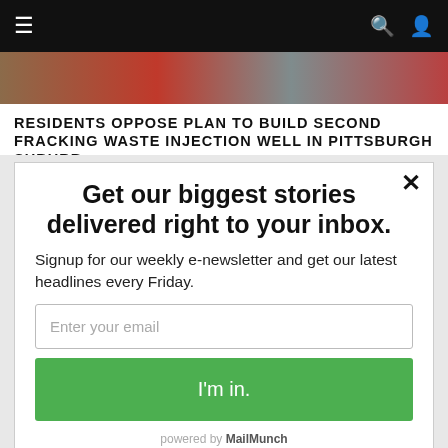≡   🔍 👤
[Figure (photo): Partial image strip showing a news article photo related to fracking/Pittsburgh suburb story]
RESIDENTS OPPOSE PLAN TO BUILD SECOND FRACKING WASTE INJECTION WELL IN PITTSBURGH SUBURB
Get our biggest stories delivered right to your inbox.
Signup for our weekly e-newsletter and get our latest headlines every Friday.
Enter your email
I'm in.
powered by MailMunch